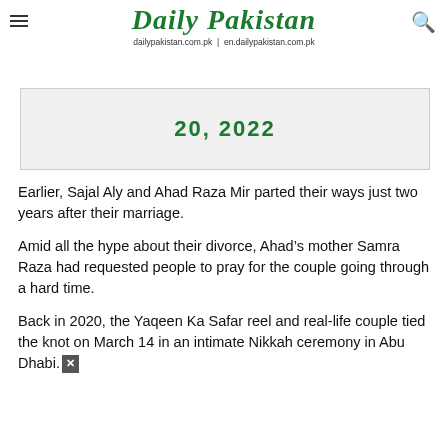Daily Pakistan
dailypakistan.com.pk | en.dailypakistan.com.pk
[Figure (other): Partial image showing a date partially visible, cropped at top of article]
Earlier, Sajal Aly and Ahad Raza Mir parted their ways just two years after their marriage.
Amid all the hype about their divorce, Ahad’s mother Samra Raza had requested people to pray for the couple going through a hard time.
Back in 2020, the Yaqeen Ka Safar reel and real-life couple tied the knot on March 14 in an intimate Nikkah ceremony in Abu Dhabi.